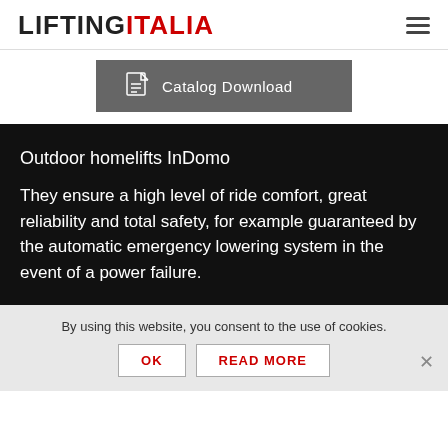LIFTING ITALIA
Catalog Download
Outdoor homelifts InDomo
They ensure a high level of ride comfort, great reliability and total safety, for example guaranteed by the automatic emergency lowering system in the event of a power failure.
By using this website, you consent to the use of cookies.
OK
READ MORE